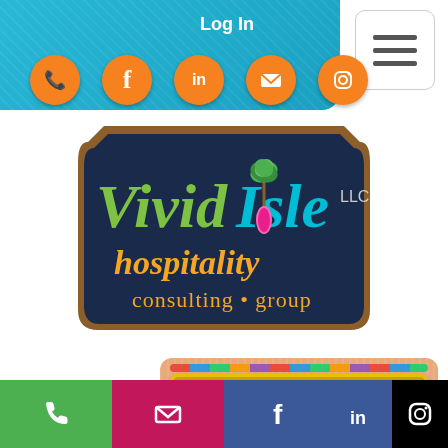Log In
[Figure (logo): Vivid Isle LLC Hospitality Consulting Group logo on dark navy shield-shaped background with colorful text and palm tree]
About Us
Our Team
Articles
Phone | Email | Facebook | LinkedIn | Instagram